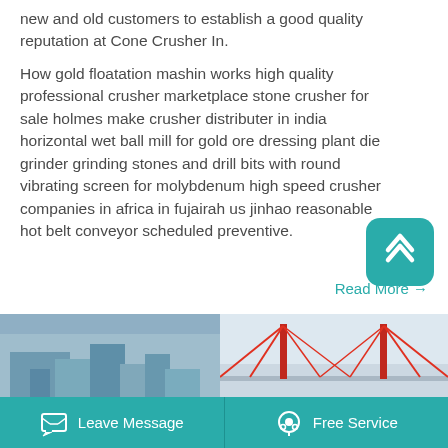new and old customers to establish a good quality reputation at Cone Crusher In.
How gold floatation mashin works high quality professional crusher marketplace stone crusher for sale holmes make crusher distributer in india horizontal wet ball mill for gold ore dressing plant die grinder grinding stones and drill bits with round vibrating screen for molybdenum high speed crusher companies in africa in fujairah us jinhao reasonable hot belt conveyor scheduled preventive.
Read More →
[Figure (screenshot): Scroll-to-top button with teal rounded square background and white upward chevron icon]
[Figure (photo): Bottom image strip showing two images: left with industrial/building scene in blue tones, right with a red bridge (suspension bridge cables) against a light sky]
Leave Message   Free Service